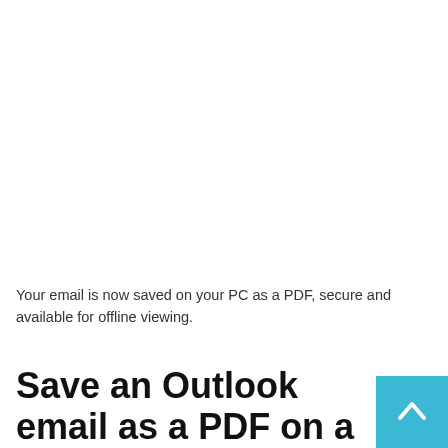Your email is now saved on your PC as a PDF, secure and available for offline viewing.
Save an Outlook email as a PDF on a Mac